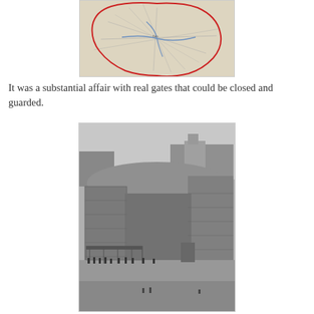[Figure (map): A historical map showing the fortifications or boundary of Paris, with a red outline tracing the perimeter and blue lines indicating roads or railways through the city center.]
It was a substantial affair with real gates that could be closed and guarded.
[Figure (photo): A black and white historical photograph showing a large stone fortification or gate structure with high walls. In the foreground there is a road with people standing near a shelter or covered area. Trees and buildings are visible in the background.]